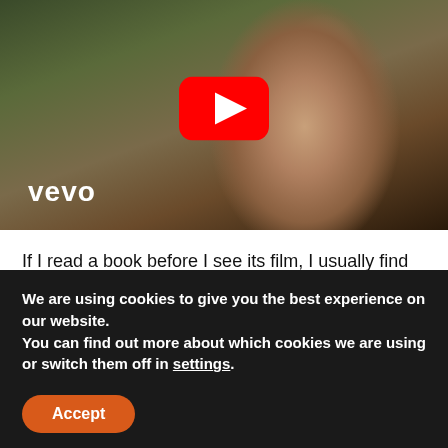[Figure (screenshot): Video thumbnail showing a woman's profile face in an outdoor setting with a YouTube play button overlay and 'vevo' logo in the bottom left corner.]
If I read a book before I see its film, I usually find the film is ruined for me.  I had the reverse happen when I watched the promo video, got all teary eyed and upset for the woman and the miners, and then went back to the lyrics and felt disappointed because...
We are using cookies to give you the best experience on our website.
You can find out more about which cookies we are using or switch them off in settings.
Accept